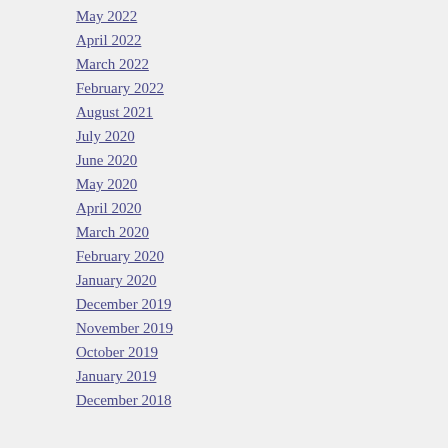May 2022
April 2022
March 2022
February 2022
August 2021
July 2020
June 2020
May 2020
April 2020
March 2020
February 2020
January 2020
December 2019
November 2019
October 2019
January 2019
December 2018